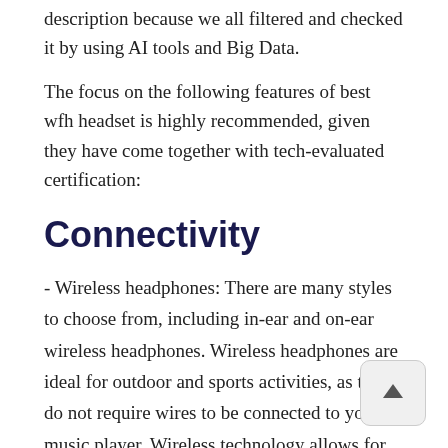description because we all filtered and checked it by using AI tools and Big Data.
The focus on the following features of best wfh headset is highly recommended, given they have come together with tech-evaluated certification:
Connectivity
- Wireless headphones: There are many styles to choose from, including in-ear and on-ear wireless headphones. Wireless headphones are ideal for outdoor and sports activities, as they do not require wires to be connected to your music player. Wireless technology allows for more freedom of movement and less tangles.
- Headphones with wired connections: The wire connects to your phone or MP3 player via wire. They have